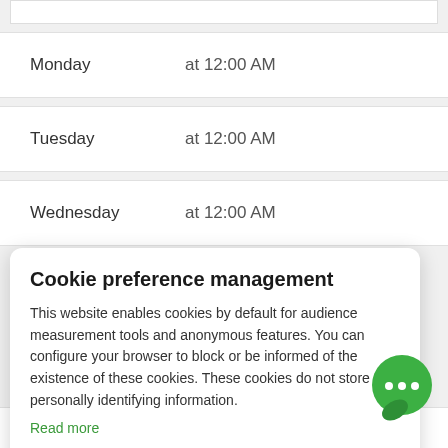Monday at 12:00 AM
Tuesday at 12:00 AM
Wednesday at 12:00 AM
Cookie preference management
This website enables cookies by default for audience measurement tools and anonymous features. You can configure your browser to block or be informed of the existence of these cookies. These cookies do not store any personally identifying information.
Read more
No thanks | I choose | Ok for me